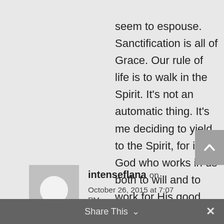seem to espouse. Sanctification is all of Grace. Our rule of life is to walk in the Spirit. It's not an automatic thing. It's me deciding to yield to the Spirit, for it is God who works in us both to will and to work for His good pleasure.
intenseflana on October 26, 2015 at 7:07 PM
Share This ∨  ✕